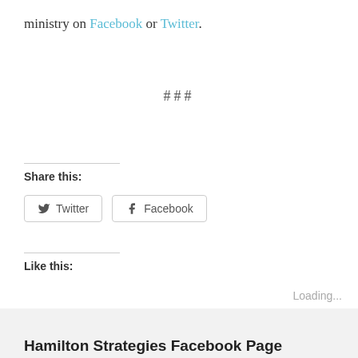ministry on Facebook or Twitter.
###
Share this:
Twitter
Facebook
Like this:
Loading...
Hamilton Strategies Facebook Page